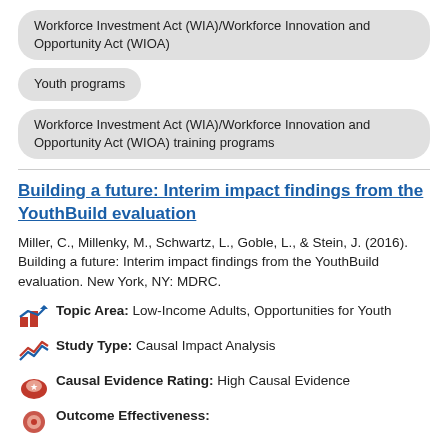Workforce Investment Act (WIA)/Workforce Innovation and Opportunity Act (WIOA)
Youth programs
Workforce Investment Act (WIA)/Workforce Innovation and Opportunity Act (WIOA) training programs
Building a future: Interim impact findings from the YouthBuild evaluation
Miller, C., Millenky, M., Schwartz, L., Goble, L., & Stein, J. (2016). Building a future: Interim impact findings from the YouthBuild evaluation. New York, NY: MDRC.
Topic Area: Low-Income Adults, Opportunities for Youth
Study Type: Causal Impact Analysis
Causal Evidence Rating: High Causal Evidence
Outcome Effectiveness: